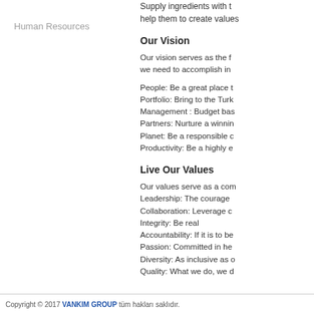Supply ingredients with t... help them to create values...
Human Resources
Our Vision
Our vision serves as the f... we need to accomplish in...
People: Be a great place t...
Portfolio: Bring to the Turk...
Management : Budget bas...
Partners: Nurture a winnin...
Planet: Be a responsible c...
Productivity: Be a highly e...
Live Our Values
Our values serve as a com...
Leadership: The courage ...
Collaboration: Leverage c...
Integrity: Be real
Accountability: If it is to be...
Passion: Committed in he...
Diversity: As inclusive as o...
Quality: What we do, we d...
Copyright © 2017 VANKIM GROUP tüm hakları saklıdır.